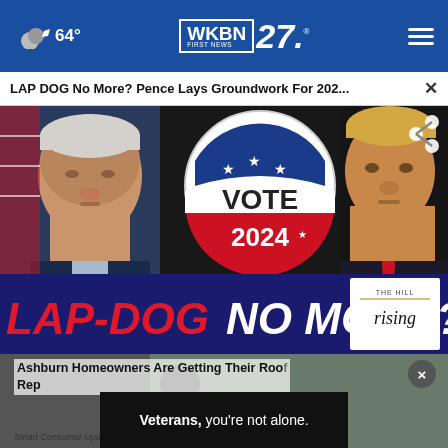64° WKBN FIRST NEWS 27.
LAP DOG No More? Pence Lays Groundwork For 202... ×
[Figure (photo): Composite news article image showing Mike Pence on the left, a blue 'VOTE 2024' campaign button in the center, and Donald Trump on the right. Overlay at bottom reads 'LAP-DOG NO MORE?' in large bold text with The Hill Rising logo.]
Ashburn Homeowners Are Getting Their Roofs Replaced For Almost Nothing
Smart Consumer Update
Veterans, you're not alone.